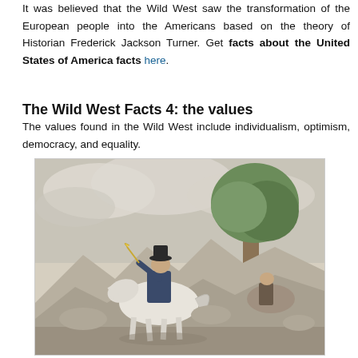It was believed that the Wild West saw the transformation of the European people into the Americans based on the theory of Historian Frederick Jackson Turner. Get facts about the United States of America facts here.
The Wild West Facts 4: the values
The values found in the Wild West include individualism, optimism, democracy, and equality.
[Figure (illustration): A historical illustration depicting a Wild West scene with a rider on horseback, wearing a hat, riding through a rocky landscape with a large tree in the background. The style is a vintage watercolor/sketch.]